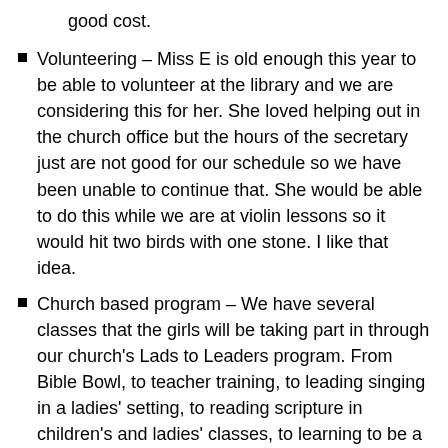good cost.
Volunteering – Miss E is old enough this year to be able to volunteer at the library and we are considering this for her. She loved helping out in the church office but the hours of the secretary just are not good for our schedule so we have been unable to continue that. She would be able to do this while we are at violin lessons so it would hit two birds with one stone. I like that idea.
Church based program – We have several classes that the girls will be taking part in through our church's Lads to Leaders program. From Bible Bowl, to teacher training, to leading singing in a ladies' setting, to reading scripture in children's and ladies' classes, to learning to be a woman of God, there are many programs that the girls will be able to participate in and